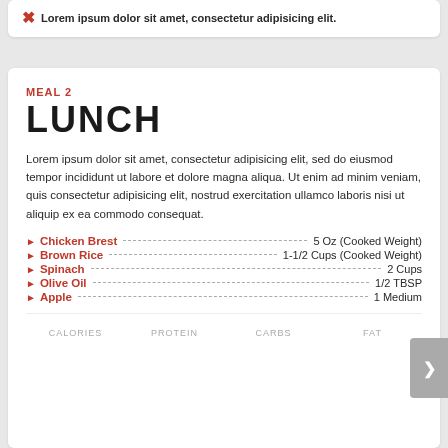Lorem ipsum dolor sit amet, consectetur adipisicing elit.
MEAL 2
LUNCH
Lorem ipsum dolor sit amet, consectetur adipisicing elit, sed do eiusmod tempor incididunt ut labore et dolore magna aliqua. Ut enim ad minim veniam, quis consectetur adipisicing elit, nostrud exercitation ullamco laboris nisi ut aliquip ex ea commodo consequat.
Chicken Brest — 5 Oz (Cooked Weight)
Brown Rice — 1-1/2 Cups (Cooked Weight)
Spinach — 2 Cups
Olive Oil — 1/2 TBSP
Apple — 1 Medium
CALORIES   PROTEIN   CARBS   FAT